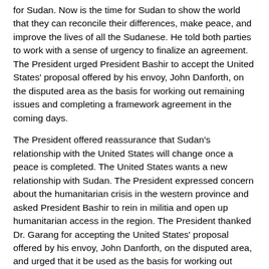for Sudan. Now is the time for Sudan to show the world that they can reconcile their differences, make peace, and improve the lives of all the Sudanese. He told both parties to work with a sense of urgency to finalize an agreement. The President urged President Bashir to accept the United States' proposal offered by his envoy, John Danforth, on the disputed area as the basis for working out remaining issues and completing a framework agreement in the coming days.
The President offered reassurance that Sudan's relationship with the United States will change once a peace is completed. The United States wants a new relationship with Sudan. The President expressed concern about the humanitarian crisis in the western province and asked President Bashir to rein in militia and open up humanitarian access in the region. The President thanked Dr. Garang for accepting the United States' proposal offered by his envoy, John Danforth, on the disputed area, and urged that it be used as the basis for working out remaining issues and completing a framework agreement in the coming days.
The President offered assurances that the United States will remain engaged after a peace is reached to ensure implementation, including United States support for international monitors and reconstruction of the south.
Also this morning, the President called the NATO Secretary General. The President thanked the Secretary General for his strong stand against terrorism at NATO following the Madrid bombings. The Secretary General said that the need to stand up against terrorism is something where there's a strong consensus at NATO and he reiterated his commitment to ensure NATO does so. The President thanked the Secretary General for acting so quickly on Kosovo and traveling there tomorrow. And the President reiterated continuing United States commitment to peace in Kosovo.